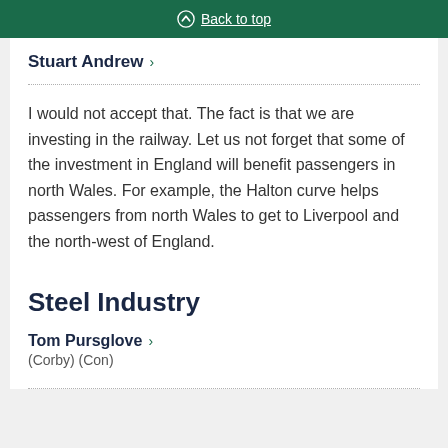Back to top
Stuart Andrew
I would not accept that. The fact is that we are investing in the railway. Let us not forget that some of the investment in England will benefit passengers in north Wales. For example, the Halton curve helps passengers from north Wales to get to Liverpool and the north-west of England.
Steel Industry
Tom Pursglove
(Corby) (Con)